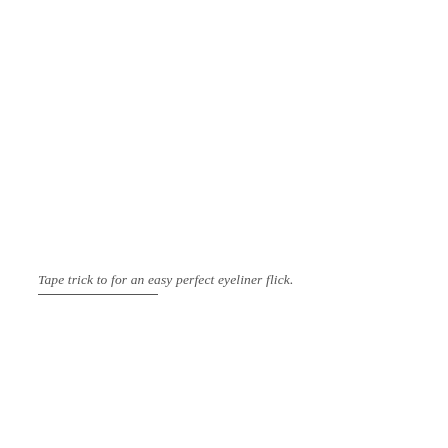Tape trick to for an easy perfect eyeliner flick.